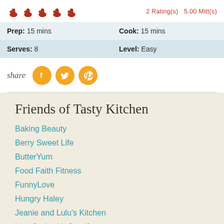[Figure (illustration): Five red oven mitt icons in a row representing a 5-mitt rating]
2 Rating(s)  5.00 Mitt(s)
| Prep: 15 mins | Cook: 15 mins |
| Serves: 8 | Level: Easy |
share
[Figure (illustration): Social share buttons for Facebook, Twitter, and Pinterest]
Friends of Tasty Kitchen
Baking Beauty
Berry Sweet Life
ButterYum
Food Faith Fitness
FunnyLove
Hungry Haley
Jeanie and Lulu's Kitchen
Low Carb with Jennifer